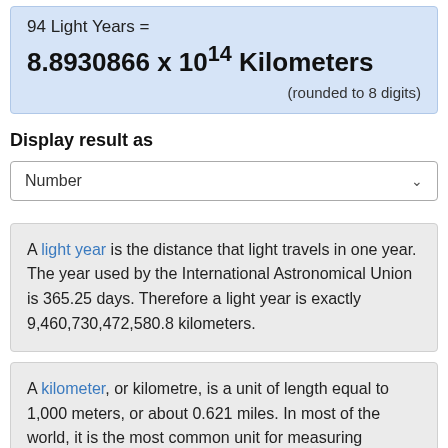94 Light Years =
(rounded to 8 digits)
Display result as
Number
A light year is the distance that light travels in one year. The year used by the International Astronomical Union is 365.25 days. Therefore a light year is exactly 9,460,730,472,580.8 kilometers.
A kilometer, or kilometre, is a unit of length equal to 1,000 meters, or about 0.621 miles. In most of the world, it is the most common unit for measuring